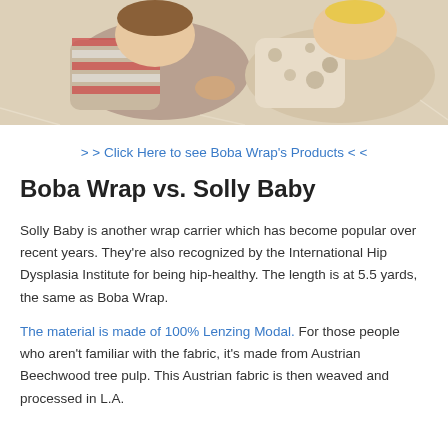[Figure (photo): Photo of two children lying on a fluffy white rug, one in striped pajamas and one in spotted clothing]
> > Click Here to see Boba Wrap's Products < <
Boba Wrap vs. Solly Baby
Solly Baby is another wrap carrier which has become popular over recent years. They're also recognized by the International Hip Dysplasia Institute for being hip-healthy. The length is at 5.5 yards, the same as Boba Wrap.
The material is made of 100% Lenzing Modal. For those people who aren't familiar with the fabric, it's made from Austrian Beechwood tree pulp. This Austrian fabric is then weaved and processed in L.A.